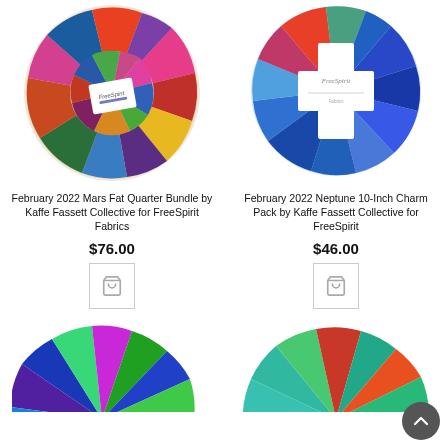[Figure (photo): February 2022 Mars Fat Quarter Bundle by Kaffe Fassett Collective for FreeSpirit Fabrics - colorful fabric bundle fanned out in a circle]
February 2022 Mars Fat Quarter Bundle by Kaffe Fassett Collective for FreeSpirit Fabrics
$76.00
[Figure (photo): Add to cart button icon (shopping cart) for Mars product]
[Figure (photo): February 2022 Neptune 10-Inch Charm Pack by Kaffe Fassett Collective for FreeSpirit - blue toned fabric squares fanned out in a circle with FreeSpirit label]
February 2022 Neptune 10-Inch Charm Pack by Kaffe Fassett Collective for FreeSpirit
$46.00
[Figure (photo): Add to cart button icon (shopping cart) for Neptune product]
[Figure (photo): Partial view of a blue/green/purple fabric bundle at bottom left]
[Figure (photo): Partial view of a teal/green/red fabric bundle at bottom right]